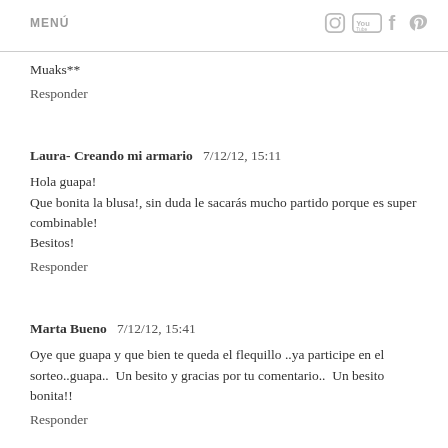MENÚ
Muaks**
Responder
Laura- Creando mi armario  7/12/12, 15:11
Hola guapa!
Que bonita la blusa!, sin duda le sacarás mucho partido porque es super combinable!
Besitos!
Responder
Marta Bueno  7/12/12, 15:41
Oye que guapa y que bien te queda el flequillo ..ya participe en el sorteo..guapa..  Un besito y gracias por tu comentario..  Un besito bonita!!
Responder